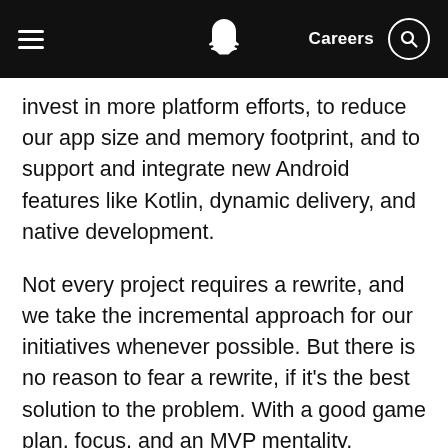Snapchat — Careers
invest in more platform efforts, to reduce our app size and memory footprint, and to support and integrate new Android features like Kotlin, dynamic delivery, and native development.
Not every project requires a rewrite, and we take the incremental approach for our initiatives whenever possible. But there is no reason to fear a rewrite, if it's the best solution to the problem. With a good game plan, focus, and an MVP mentality, rewrites can help fast track